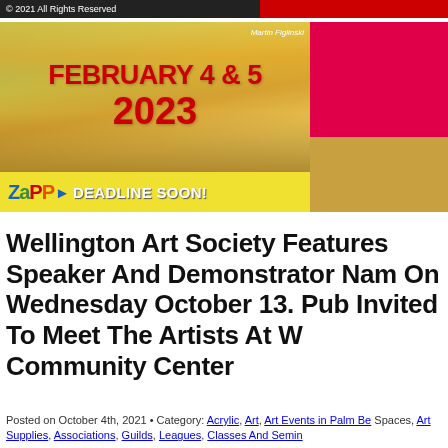© 2021 All Rights Reserved
[Figure (illustration): Banner advertisement for an art event: landscape painting background showing grassy field and warm sunset sky. Text overlay reads 'FEBRUARY 4 & 5 2023' in bold red. Bottom strip shows ZAPP logo in colorful letters with 'DEADLINE SOON!' in white bold text on yellow background. Right portion shows a hot pink/magenta block at top and golden yellow block at bottom. Artist credit: Martin Figlinski.]
Wellington Art Society Features Speaker And Demonstrator Named On Wednesday October 13. Public Invited To Meet The Artists At Wellington Community Center
Posted on October 4th, 2021 • Category: Acrylic, Art, Art Events in Palm Beach Spaces, Art Supplies, Associations, Guilds, Leagues, Classes And Seminars